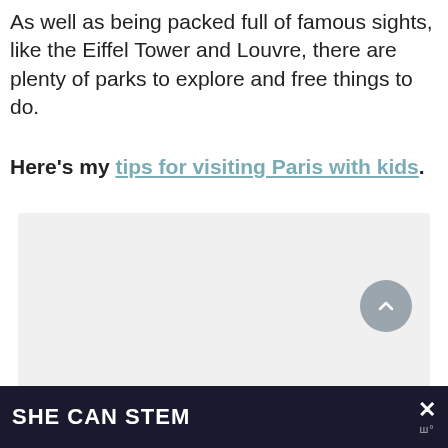As well as being packed full of famous sights, like the Eiffel Tower and Louvre, there are plenty of parks to explore and free things to do.
Here's my tips for visiting Paris with kids.
[Figure (other): A light gray placeholder image area with navigation dots and UI overlay buttons including scroll-up, heart/save, and share buttons showing count 319]
SHE CAN STEM